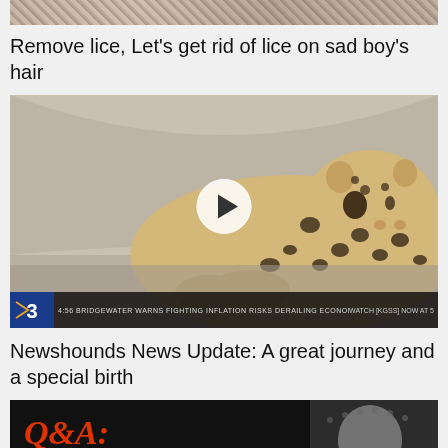[Figure (photo): Top cropped image strip showing partial photo (hair/skin tones visible)]
Remove lice, Let's get rid of lice on sad boy's hair
[Figure (screenshot): News video thumbnail showing a leopard cub lying down with a play button overlay. News ticker bar at bottom with channel 3 logo, ticker text '4:56 BRIDGEWATER WARNS FIGHTING INFLATION RISKS DERAILING ECONOMIC RECOVERY', and 'WATCH KGSS NOW AT 5']
Newshounds News Update: A great journey and a special birth
[Figure (screenshot): Dark thumbnail with red italic 'Q&A:' text in top left, large white bold 'Insubordination' text at bottom, and a person's headshot in grayscale on the right side]